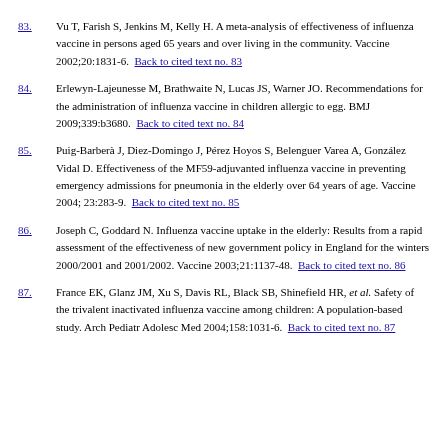83. Vu T, Farish S, Jenkins M, Kelly H. A meta-analysis of effectiveness of influenza vaccine in persons aged 65 years and over living in the community. Vaccine 2002;20:1831-6. Back to cited text no. 83
84. Erlewyn-Lajeunesse M, Brathwaite N, Lucas JS, Warner JO. Recommendations for the administration of influenza vaccine in children allergic to egg. BMJ 2009;339:b3680. Back to cited text no. 84
85. Puig-Barberà J, Diez-Domingo J, Pérez Hoyos S, Belenguer Varea A, González Vidal D. Effectiveness of the MF59-adjuvanted influenza vaccine in preventing emergency admissions for pneumonia in the elderly over 64 years of age. Vaccine 2004; 23:283-9. Back to cited text no. 85
86. Joseph C, Goddard N. Influenza vaccine uptake in the elderly: Results from a rapid assessment of the effectiveness of new government policy in England for the winters 2000/2001 and 2001/2002. Vaccine 2003;21:1137-48. Back to cited text no. 86
87. France EK, Glanz JM, Xu S, Davis RL, Black SB, Shinefield HR, et al. Safety of the trivalent inactivated influenza vaccine among children: A population-based study. Arch Pediatr Adolesc Med 2004;158:1031-6. Back to cited text no. 87